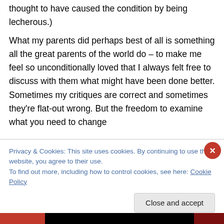thought to have caused the condition by being lecherous.)
What my parents did perhaps best of all is something all the great parents of the world do – to make me feel so unconditionally loved that I always felt free to discuss with them what might have been done better. Sometimes my critiques are correct and sometimes they’re flat-out wrong. But the freedom to examine what you need to change
Privacy & Cookies: This site uses cookies. By continuing to use this website, you agree to their use.
To find out more, including how to control cookies, see here: Cookie Policy